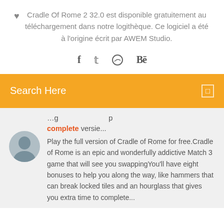Cradle Of Rome 2 32.0 est disponible gratuitement au téléchargement dans notre logithèque. Ce logiciel a été à l'origine écrit par AWEM Studio.
[Figure (infographic): Social media icons: Facebook (f), Twitter (bird), Dribbble (circle with lines), Behance (Be)]
[Figure (infographic): Orange search bar with 'Search Here' label and a small square icon on the right]
complete versie...
[Figure (photo): Circular avatar photo of a man]
Play the full version of Cradle of Rome for free.Cradle of Rome is an epic and wonderfully addictive Match 3 game that will see you swappingYou'll have eight bonuses to help you along the way, like hammers that can break locked tiles and an hourglass that gives you extra time to complete...